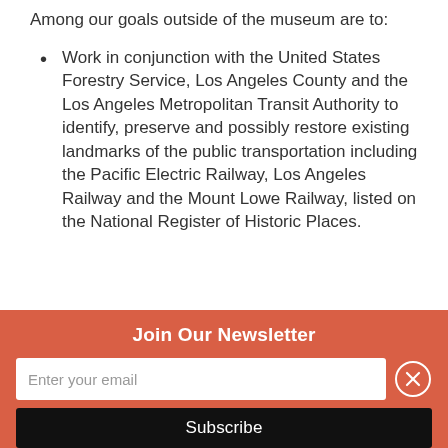Among our goals outside of the museum are to:
Work in conjunction with the United States Forestry Service, Los Angeles County and the Los Angeles Metropolitan Transit Authority to identify, preserve and possibly restore existing landmarks of the public transportation including the Pacific Electric Railway, Los Angeles Railway and the Mount Lowe Railway, listed on the National Register of Historic Places.
Join Our Newsletter
Enter your email
Subscribe